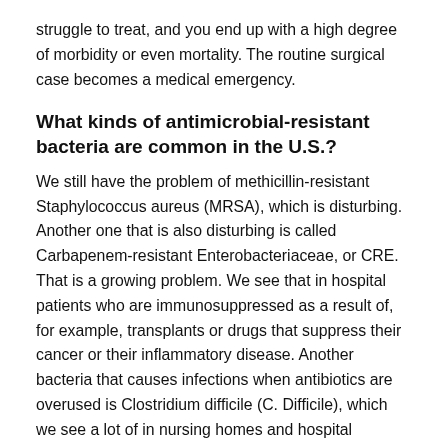struggle to treat, and you end up with a high degree of morbidity or even mortality. The routine surgical case becomes a medical emergency.
What kinds of antimicrobial-resistant bacteria are common in the U.S.?
We still have the problem of methicillin-resistant Staphylococcus aureus (MRSA), which is disturbing. Another one that is also disturbing is called Carbapenem-resistant Enterobacteriaceae, or CRE. That is a growing problem. We see that in hospital patients who are immunosuppressed as a result of, for example, transplants or drugs that suppress their cancer or their inflammatory disease. Another bacteria that causes infections when antibiotics are overused is Clostridium difficile (C. Difficile), which we see a lot of in nursing homes and hospital settings.
These three are big ones – MRSA, CRE, and C. Difficile.